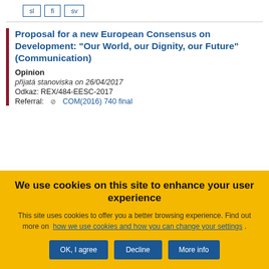sl  fi  sv
Proposal for a new European Consensus on Development: "Our World, our Dignity, our Future" (Communication)
Opinion
přijatá stanoviska on 26/04/2017
Odkaz: REX/484-EESC-2017
Referral: COM(2016) 740 final
We use cookies on this site to enhance your user experience
This site uses cookies to offer you a better browsing experience. Find out more on how we use cookies and how you can change your settings .